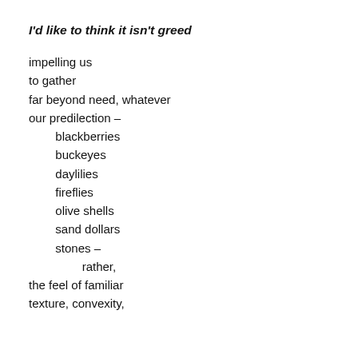I'd like to think it isn't greed
impelling us
to gather
far beyond need, whatever
our predilection –
        blackberries
        buckeyes
        daylilies
        fireflies
        olive shells
        sand dollars
        stones –
                rather,
the feel of familiar
texture, convexity,